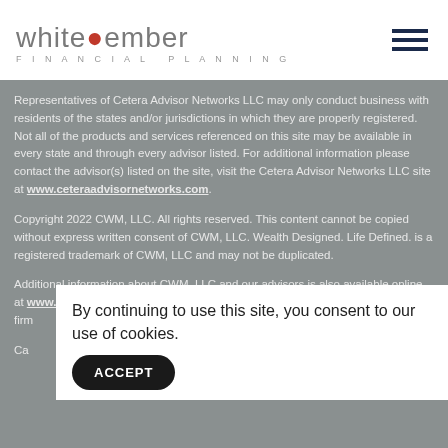[Figure (logo): White Ember Financial Planning logo with flame icon]
Representatives of Cetera Advisor Networks LLC may only conduct business with residents of the states and/or jurisdictions in which they are properly registered. Not all of the products and services referenced on this site may be available in every state and through every advisor listed. For additional information please contact the advisor(s) listed on the site, visit the Cetera Advisor Networks LLC site at www.ceteraadvisornetworks.com.
Copyright 2022 CWM, LLC. All rights reserved. This content cannot be copied without express written consent of CWM, LLC. Wealth Designed. Life Defined. is a registered trademark of CWM, LLC and may not be duplicated.
Additional information about CWM, LLC and our advisors is also available online at www.adviserinfo.sec.gov or https://brokercheck.finra.org/. You can view our firm's...per 15...
Ca...
By continuing to use this site, you consent to our use of cookies.
ACCEPT